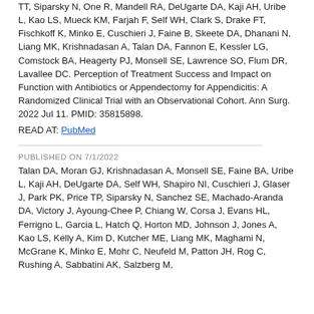TT, Siparsky N, One R, Mandell RA, DeUgarte DA, Kaji AH, Uribe L, Kao LS, Mueck KM, Farjah F, Self WH, Clark S, Drake FT, Fischkoff K, Minko E, Cuschieri J, Faine B, Skeete DA, Dhanani N, Liang MK, Krishnadasan A, Talan DA, Fannon E, Kessler LG, Comstock BA, Heagerty PJ, Monsell SE, Lawrence SO, Flum DR, Lavallee DC. Perception of Treatment Success and Impact on Function with Antibiotics or Appendectomy for Appendicitis: A Randomized Clinical Trial with an Observational Cohort. Ann Surg. 2022 Jul 11. PMID: 35815898.
READ AT: PubMed
PUBLISHED ON 7/1/2022
Talan DA, Moran GJ, Krishnadasan A, Monsell SE, Faine BA, Uribe L, Kaji AH, DeUgarte DA, Self WH, Shapiro NI, Cuschieri J, Glaser J, Park PK, Price TP, Siparsky N, Sanchez SE, Machado-Aranda DA, Victory J, Ayoung-Chee P, Chiang W, Corsa J, Evans HL, Ferrigno L, Garcia L, Hatch Q, Horton MD, Johnson J, Jones A, Kao LS, Kelly A, Kim D, Kutcher ME, Liang MK, Maghami N, McGrane K, Minko E, Mohr C, Neufeld M, Patton JH, Rog C, Rushing A, Sabbatini AK, Salzberg M,